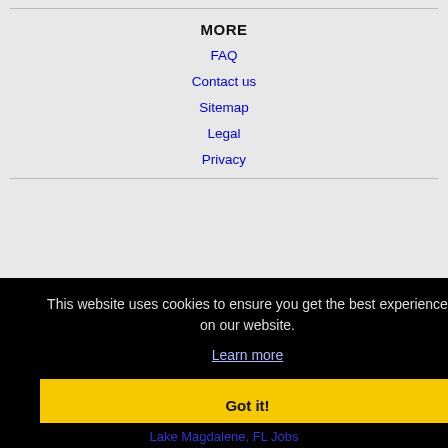MORE
FAQ
Contact us
Sitemap
Legal
Privacy
This website uses cookies to ensure you get the best experience on our website.
Learn more
Got it!
Lake Magdalene, FL Jobs